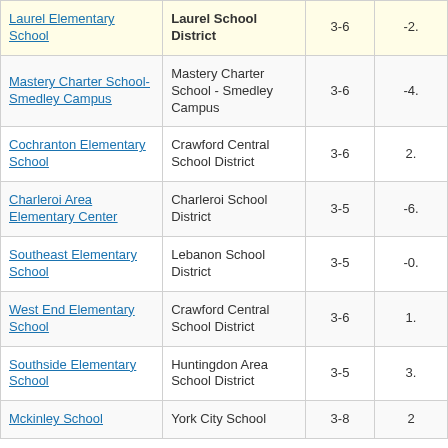| School | District | Grades | Value |
| --- | --- | --- | --- |
| Laurel Elementary School | Laurel School District | 3-6 | -2. |
| Mastery Charter School-Smedley Campus | Mastery Charter School - Smedley Campus | 3-6 | -4. |
| Cochranton Elementary School | Crawford Central School District | 3-6 | 2. |
| Charleroi Area Elementary Center | Charleroi School District | 3-5 | -6. |
| Southeast Elementary School | Lebanon School District | 3-5 | -0. |
| West End Elementary School | Crawford Central School District | 3-6 | 1. |
| Southside Elementary School | Huntingdon Area School District | 3-5 | 3. |
| Mckinley School | York City School | 3-8 | 2 |